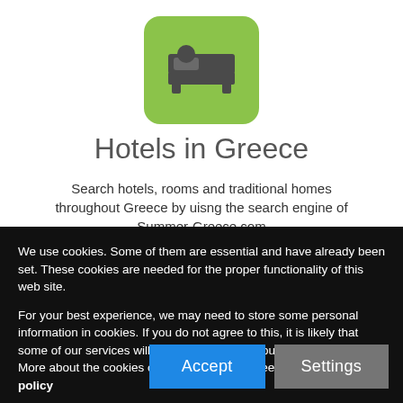[Figure (logo): Green rounded square app icon with a hotel bed icon (person in bed silhouette) in dark gray on a bright green background]
Hotels in Greece
Search hotels, rooms and traditional homes throughout Greece by uisng the search engine of Summer-Greece.com
We use cookies. Some of them are essential and have already been set. These cookies are needed for the proper functionality of this web site.

For your best experience, we may need to store some personal information in cookies. If you do not agree to this, it is likely that some of our services will not be available to you.
More about the cookies of this site, you can see visiting the Privacy policy